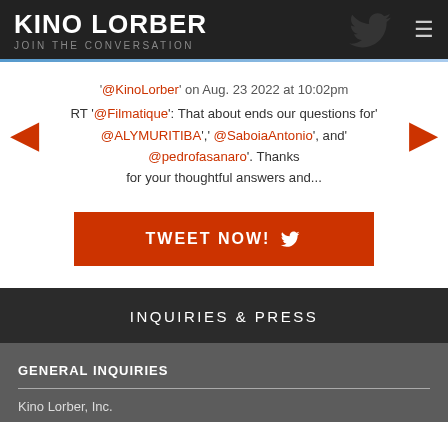KINO LORBER JOIN THE CONVERSATION
'@KinoLorber' on Aug. 23 2022 at 10:02pm RT '@Filmatique': That about ends our questions for '@ALYMURITIBA',  '@SaboiaAntonio', and '@pedrofasanaro'. Thanks for your thoughtful answers and...
[Figure (screenshot): TWEET NOW! button with Twitter bird icon in orange/red]
INQUIRIES & PRESS
GENERAL INQUIRIES
Kino Lorber, Inc.